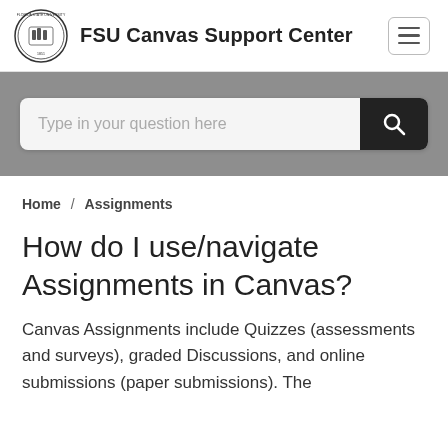FSU Canvas Support Center
[Figure (other): Search bar with placeholder text 'Type in your question here' and a dark search button with magnifying glass icon on a gray background]
Home / Assignments
How do I use/navigate Assignments in Canvas?
Canvas Assignments include Quizzes (assessments and surveys), graded Discussions, and online submissions (paper submissions). The